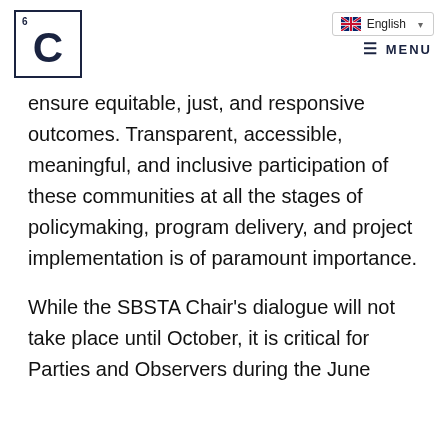[Figure (logo): Carbon/Climate organization logo: element-style box with atomic number 6 and letter C]
ensure equitable, just, and responsive outcomes. Transparent, accessible, meaningful, and inclusive participation of these communities at all the stages of policymaking, program delivery, and project implementation is of paramount importance.
While the SBSTA Chair's dialogue will not take place until October, it is critical for Parties and Observers during the June